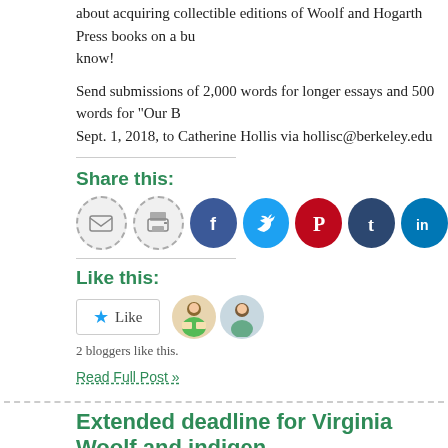about acquiring collectible editions of Woolf and Hogarth Press books on a bu know!
Send submissions of 2,000 words for longer essays and 500 words for "Our B Sept. 1, 2018, to Catherine Hollis via hollisc@berkeley.edu
Share this:
[Figure (other): Social sharing icons: email, print, Facebook, Twitter, Pinterest, Tumblr, LinkedIn]
Like this:
[Figure (other): Like button widget with star icon and text 'Like', plus two blogger avatars]
2 bloggers like this.
Read Full Post »
Extended deadline for Virginia Woolf and indigen
Posted in call for papers, Virginia Woolf Miscellany, tagged call for papers, Virginia Wo Miscellany on Wednesday 5 April 2017| Leave a Comment »